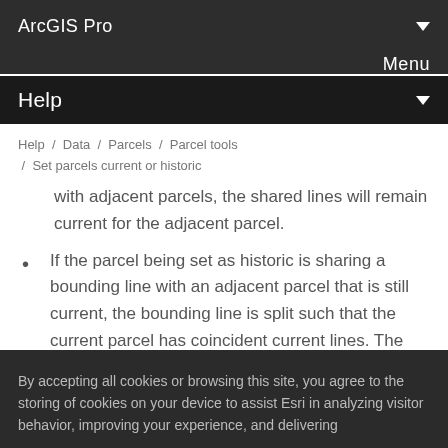ArcGIS Pro
Menu
Help
Help / Data / Parcels / Parcel tools / Set parcels current or historic
with adjacent parcels, the shared lines will remain current for the adjacent parcel.
If the parcel being set as historic is sharing a bounding line with an adjacent parcel that is still current, the bounding line is split such that the current parcel has coincident current lines. The
By accepting all cookies or browsing this site, you agree to the storing of cookies on your device to assist Esri in analyzing visitor behavior, improving your experience, and delivering